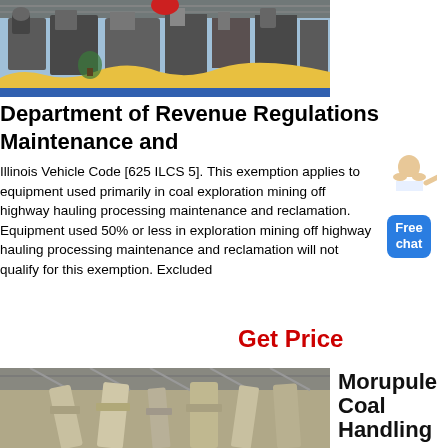[Figure (photo): Industrial mining machinery equipment in a factory/showroom setting with yellow and blue floor markings]
Department of Revenue Regulations Maintenance and
Illinois Vehicle Code [625 ILCS 5]. This exemption applies to equipment used primarily in coal exploration mining off highway hauling processing maintenance and reclamation. Equipment used 50% or less in exploration mining off highway hauling processing maintenance and reclamation will not qualify for this exemption. Excluded
Get Price
[Figure (photo): Industrial coal handling piping/ductwork inside a large facility]
Morupule Coal Handling